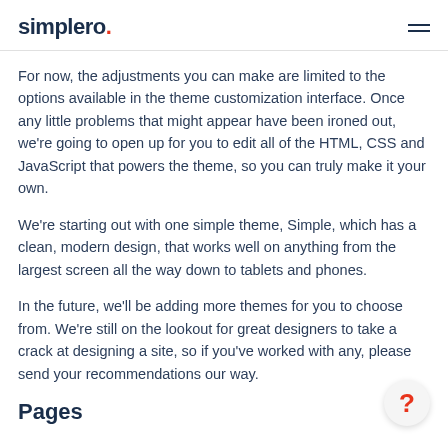simplero.
For now, the adjustments you can make are limited to the options available in the theme customization interface. Once any little problems that might appear have been ironed out, we're going to open up for you to edit all of the HTML, CSS and JavaScript that powers the theme, so you can truly make it your own.
We're starting out with one simple theme, Simple, which has a clean, modern design, that works well on anything from the largest screen all the way down to tablets and phones.
In the future, we'll be adding more themes for you to choose from. We're still on the lookout for great designers to take a crack at designing a site, so if you've worked with any, please send your recommendations our way.
Pages